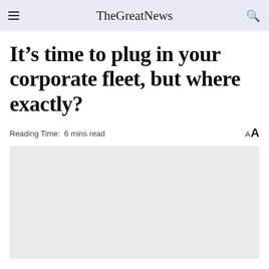TheGreatNews
It's time to plug in your corporate fleet, but where exactly?
Reading Time: 6 mins read
[Figure (photo): Large placeholder image area, light grey background, likely an article hero image]